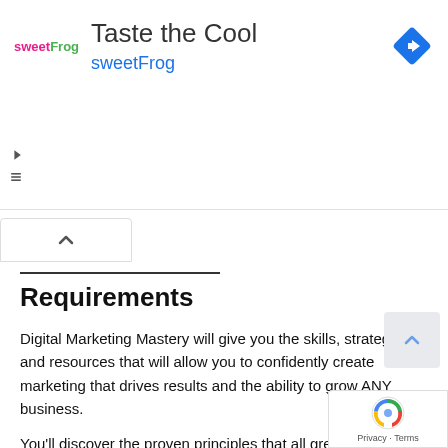[Figure (screenshot): sweetFrog advertisement banner with logo, title 'Taste the Cool', subtitle 'sweetFrog', navigation diamond icon, and ad controls]
[Figure (screenshot): Scroll-up tab button with caret/chevron icon]
Requirements
Digital Marketing Mastery will give you the skills, strategy, and resources that will allow you to confidently create marketing that drives results and the ability to grow ANY business.
You'll discover the proven principles that all great marketing campaigns are built on and learn how to create killer campaigns of your very own.
Learn how to tap into a neverending supply of content ideas and create high converting content that makes
[Figure (screenshot): Scroll-up arrow button (light blue/gray background with caret up icon)]
[Figure (screenshot): Google reCAPTCHA badge with logo and Privacy · Terms text]